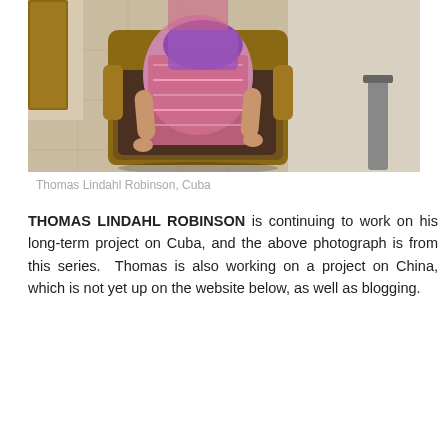[Figure (photo): A person dressed in colorful patterned clothing sitting in an ornate wooden armchair with floral upholstery, on a tiled floor with a wall and door in the background.]
Thomas Lindahl Robinson, Cuba
THOMAS LINDAHL ROBINSON is continuing to work on his long-term project on Cuba, and the above photograph is from this series.  Thomas is also working on a project on China, which is not yet up on the website below, as well as blogging.
Thomas Lindahl Robinson website
Thomas Lindahl Robinson blog